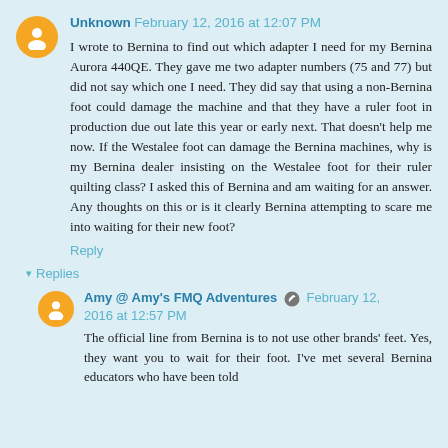Unknown  February 12, 2016 at 12:07 PM
I wrote to Bernina to find out which adapter I need for my Bernina Aurora 440QE. They gave me two adapter numbers (75 and 77) but did not say which one I need. They did say that using a non-Bernina foot could damage the machine and that they have a ruler foot in production due out late this year or early next. That doesn't help me now. If the Westalee foot can damage the Bernina machines, why is my Bernina dealer insisting on the Westalee foot for their ruler quilting class? I asked this of Bernina and am waiting for an answer. Any thoughts on this or is it clearly Bernina attempting to scare me into waiting for their new foot?
Reply
Replies
Amy @ Amy's FMQ Adventures  February 12, 2016 at 12:57 PM
The official line from Bernina is to not use other brands' feet. Yes, they want you to wait for their foot. I've met several Bernina educators who have been told